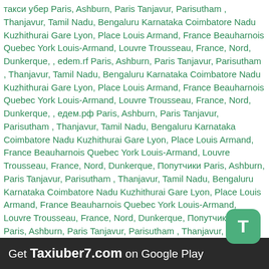такси убер Paris, Ashburn, Paris Tanjavur, Parisutham , Thanjavur, Tamil Nadu, Bengaluru Karnataka Coimbatore Nadu Kuzhithurai Gare Lyon, Place Louis Armand, France Beauharnois Quebec York Louis-Armand, Louvre Trousseau, France, Nord, Dunkerque, , edem.rf Paris, Ashburn, Paris Tanjavur, Parisutham , Thanjavur, Tamil Nadu, Bengaluru Karnataka Coimbatore Nadu Kuzhithurai Gare Lyon, Place Louis Armand, France Beauharnois Quebec York Louis-Armand, Louvre Trousseau, France, Nord, Dunkerque, , едем.рф Paris, Ashburn, Paris Tanjavur, Parisutham , Thanjavur, Tamil Nadu, Bengaluru Karnataka Coimbatore Nadu Kuzhithurai Gare Lyon, Place Louis Armand, France Beauharnois Quebec York Louis-Armand, Louvre Trousseau, France, Nord, Dunkerque, Попутчики Paris, Ashburn, Paris Tanjavur, Parisutham , Thanjavur, Tamil Nadu, Bengaluru Karnataka Coimbatore Nadu Kuzhithurai Gare Lyon, Place Louis Armand, France Beauharnois Quebec York Louis-Armand, Louvre Trousseau, France, Nord, Dunkerque, Попутчики из Paris, Ashburn, Paris Tanjavur, Parisutham , Thanjavur, Tamil Nadu, Bengaluru Karnataka Coimbatore Nadu Kuzhithurai Gare Lyon, Place Louis Armand, France Beauharnois Quebec York Louis-Armand, Louvre Trousseau, France, Dunkerque, blablacar from Paris, Ashburn, Paris Tanjavur, Parisutham , Thanjavur, Tamil Nadu, Bengaluru Karnataka Coimbatore Nadu Kuzhithurai Gare Lyon, Place Louis Armand, Louvre Trousseau France, Nord, Dunkerque, to Blablabus Paris, Ashburn, Paris
[Figure (logo): Green rounded square badge with white letter T]
Get Taxiuber7.com on Google Play